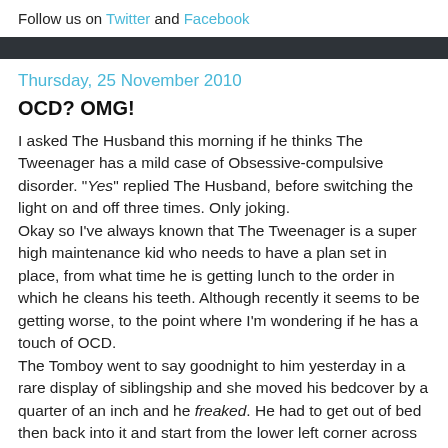Follow us on Twitter and Facebook
Thursday, 25 November 2010
OCD? OMG!
I asked The Husband this morning if he thinks The Tweenager has a mild case of Obsessive-compulsive disorder. "Yes" replied The Husband, before switching the light on and off three times. Only joking.
Okay so I've always known that The Tweenager is a super high maintenance kid who needs to have a plan set in place, from what time he is getting lunch to the order in which he cleans his teeth. Although recently it seems to be getting worse, to the point where I'm wondering if he has a touch of OCD.
The Tomboy went to say goodnight to him yesterday in a rare display of siblingship and she moved his bedcover by a quarter of an inch and he freaked. He had to get out of bed then back into it and start from the lower left corner across